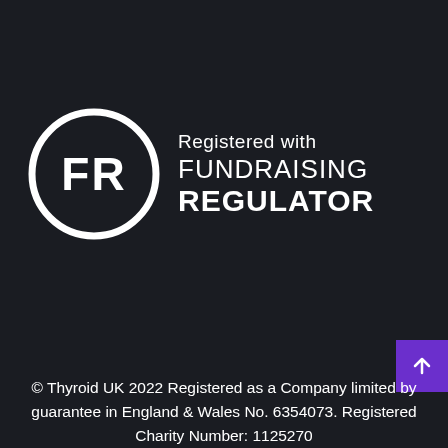[Figure (logo): Fundraising Regulator logo: white circle with 'FR' initials on dark background, with text 'Registered with FUNDRAISING REGULATOR']
© Thyroid UK 2022 Registered as a Company limited by guarantee in England & Wales No. 6354073. Registered Charity Number: 1125270